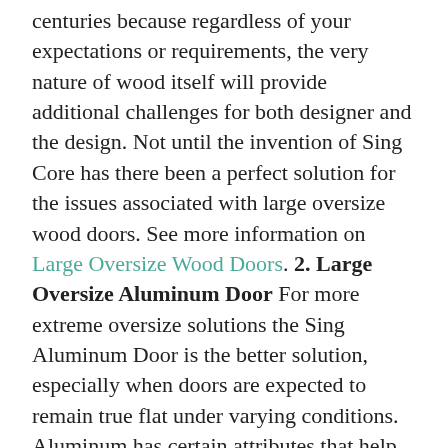centuries because regardless of your expectations or requirements, the very nature of wood itself will provide additional challenges for both designer and the design. Not until the invention of Sing Core has there been a perfect solution for the issues associated with large oversize wood doors. See more information on Large Oversize Wood Doors. 2. Large Oversize Aluminum Door For more extreme oversize solutions the Sing Aluminum Door is the better solution, especially when doors are expected to remain true flat under varying conditions. Aluminum has certain attributes that help us reach and exceed the requirements of the most demanding high-end clients. See more information on Large Oversize Aluminum Doors. 3. Large Oversize Wood/Aluminum Composite The best solution for battling the issue of oversize without compromising the look, feel, beauty and elegance of solid wood is to call in the specialists at Sing Core to help design the perfect solution to your